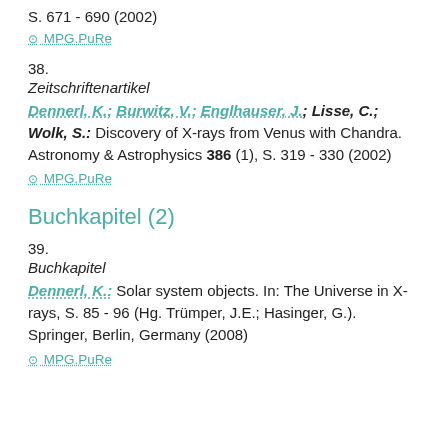S. 671 - 690 (2002)
⊙ MPG.PuRe
38.
Zeitschriftenartikel
Dennerl, K.; Burwitz, V.; Englhauser, J.; Lisse, C.; Wolk, S.: Discovery of X-rays from Venus with Chandra. Astronomy & Astrophysics 386 (1), S. 319 - 330 (2002)
⊙ MPG.PuRe
Buchkapitel (2)
39.
Buchkapitel
Dennerl, K.: Solar system objects. In: The Universe in X-rays, S. 85 - 96 (Hg. Trümper, J.E.; Hasinger, G.). Springer, Berlin, Germany (2008)
⊙ MPG.PuRe